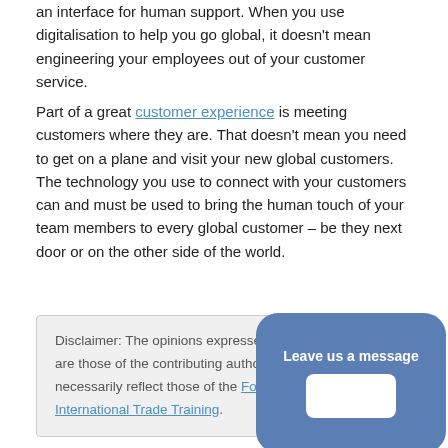an interface for human support. When you use digitalisation to help you go global, it doesn't mean engineering your employees out of your customer service.
Part of a great customer experience is meeting customers where they are. That doesn't mean you need to get on a plane and visit your new global customers. The technology you use to connect with your customers can and must be used to bring the human touch of your team members to every global customer – be they next door or on the other side of the world.
Disclaimer: The opinions expressed in this article are those of the contributing autho... necessarily reflect those of the Forum for International Trade Training.